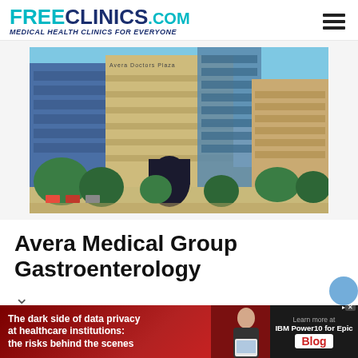FREE CLINICS.COM - Medical Health Clinics For Everyone
[Figure (photo): Aerial/elevated exterior view of the Avera Doctors Plaza building complex, multi-story tan and brick office buildings with green trees and parking lot visible]
Avera Medical Group Gastroenterology
[Figure (photo): Advertisement banner: The dark side of data privacy at healthcare institutions: the risks behind the scenes - IBM Power10 for Epic - Blog]